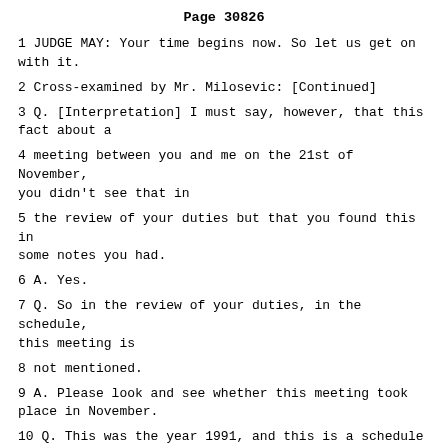Page 30826
1 JUDGE MAY: Your time begins now. So let us get on with it.
2 Cross-examined by Mr. Milosevic: [Continued]
3 Q. [Interpretation] I must say, however, that this fact about a
4 meeting between you and me on the 21st of November, you didn't see that in
5 the review of your duties but that you found this in some notes you had.
6 A. Yes.
7 Q. So in the review of your duties, in the schedule, this meeting is
8 not mentioned.
9 A. Please look and see whether this meeting took place in November.
10 Q. This was the year 1991, and this is a schedule of your
11 obligations. I don't have that on me any more. I've handed it over.